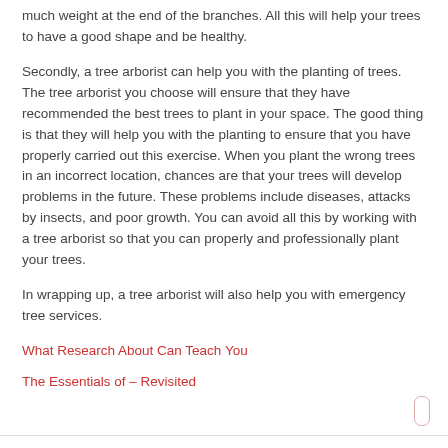much weight at the end of the branches. All this will help your trees to have a good shape and be healthy.
Secondly, a tree arborist can help you with the planting of trees. The tree arborist you choose will ensure that they have recommended the best trees to plant in your space. The good thing is that they will help you with the planting to ensure that you have properly carried out this exercise. When you plant the wrong trees in an incorrect location, chances are that your trees will develop problems in the future. These problems include diseases, attacks by insects, and poor growth. You can avoid all this by working with a tree arborist so that you can properly and professionally plant your trees.
In wrapping up, a tree arborist will also help you with emergency tree services.
What Research About Can Teach You
The Essentials of – Revisited